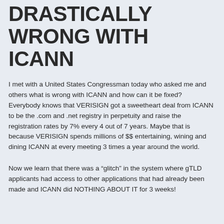DRASTICALLY WRONG WITH ICANN
I met with a United States Congressman today who asked me and others what is wrong with ICANN and how can it be fixed? Everybody knows that VERISIGN got a sweetheart deal from ICANN to be the .com and .net registry in perpetuity and raise the registration rates by 7% every 4 out of 7 years. Maybe that is because VERISIGN spends millions of $$ entertaining, wining and dining ICANN at every meeting 3 times a year around the world.
Now we learn that there was a “glitch” in the system where gTLD applicants had access to other applications that had already been made and ICANN did NOTHING ABOUT IT for 3 weeks!